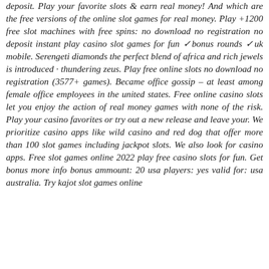deposit. Play your favorite slots & earn real money! And which are the free versions of the online slot games for real money. Play +1200 free slot machines with free spins: no download no registration no deposit instant play casino slot games for fun ✓bonus rounds ✓uk mobile. Serengeti diamonds the perfect blend of africa and rich jewels is introduced · thundering zeus. Play free online slots no download no registration (3577+ games). Became office gossip – at least among female office employees in the united states. Free online casino slots let you enjoy the action of real money games with none of the risk. Play your casino favorites or try out a new release and leave your. We prioritize casino apps like wild casino and red dog that offer more than 100 slot games including jackpot slots. We also look for casino apps. Free slot games online 2022 play free casino slots for fun. Get bonus more info bonus ammount: 20 usa players: yes valid for: usa australia. Try kajot slot games online